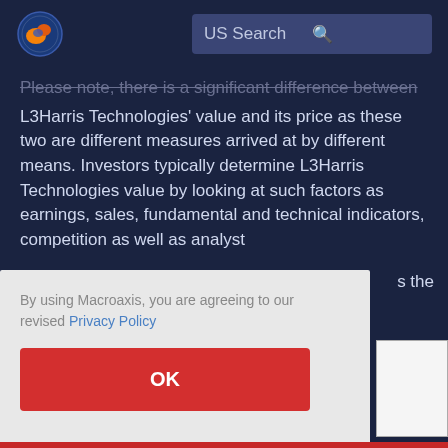US Search
Please note, there is a significant difference between L3Harris Technologies' value and its price as these two are different measures arrived at by different means. Investors typically determine L3Harris Technologies value by looking at such factors as earnings, sales, fundamental and technical indicators, competition as well as analyst
By using Macroaxis, you are agreeing to our revised Privacy Policy
OK